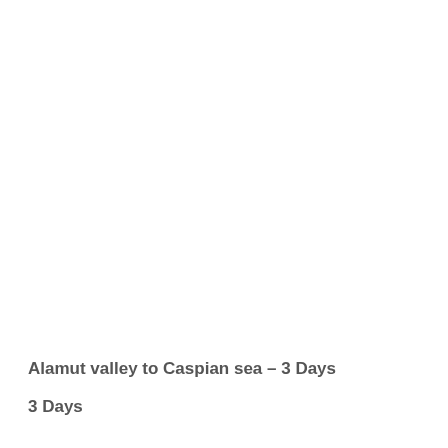Alamut valley to Caspian sea – 3 Days
3 Days